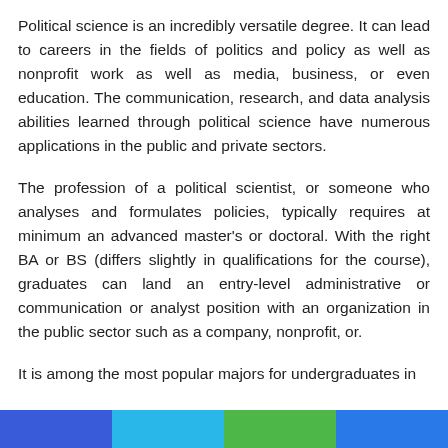Political science is an incredibly versatile degree. It can lead to careers in the fields of politics and policy as well as nonprofit work as well as media, business, or even education. The communication, research, and data analysis abilities learned through political science have numerous applications in the public and private sectors.
The profession of a political scientist, or someone who analyses and formulates policies, typically requires at minimum an advanced master's or doctoral. With the right BA or BS (differs slightly in qualifications for the course), graduates can land an entry-level administrative or communication or analyst position with an organization in the public sector such as a company, nonprofit, or.
It is among the most popular majors for undergraduates in